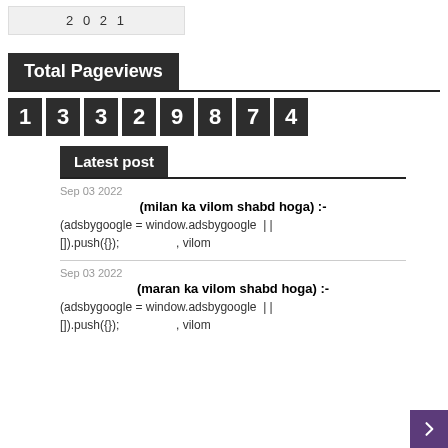2 0 2 1
Total Pageviews
[Figure (other): Flip-counter displaying the number 13329874]
Latest post
Sep 03 2022
(milan ka vilom shabd hoga) :-
(adsbygoogle = window.adsbygoogle || []).push({});                , vilom
Sep 03 2022
(maran ka vilom shabd hoga) :-
(adsbygoogle = window.adsbygoogle || []).push({});                , vilom